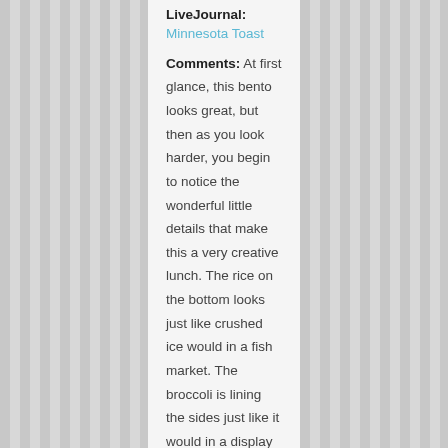LiveJournal: Minnesota Toast
Comments: At first glance, this bento looks great, but then as you look harder, you begin to notice the wonderful little details that make this a very creative lunch. The rice on the bottom looks just like crushed ice would in a fish market. The broccoli is lining the sides just like it would in a display case. The little price flags are a nice touch, but I think the most ingenious of the foods was the use of pistachios as clams. How clever!!!